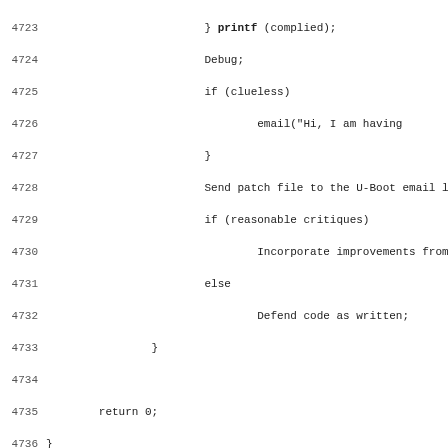Code listing lines 4723-4755 showing C-like pseudocode and Coding Standards section
Coding Standards:
All contributions to U-Boot should conform to the Linux coding style; see the file "Documentation/CodingStyle" "scripts/Lindent" in your Linux kernel source directory
Source files originating from a different project (for MTD subsystem) are generally exempt from these guidelines reformated to ease subsequent migration to newer versions sources.